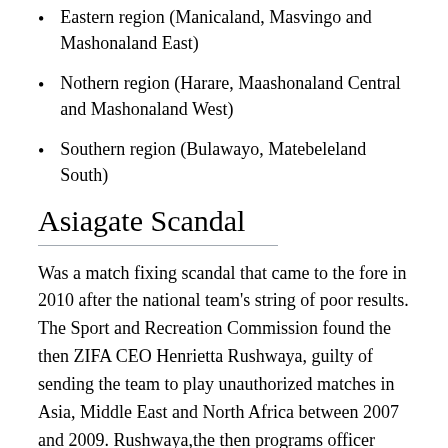Eastern region (Manicaland, Masvingo and Mashonaland East)
Nothern region (Harare, Maashonaland Central and Mashonaland West)
Southern region (Bulawayo, Matebeleland South)
Asiagate Scandal
Was a match fixing scandal that came to the fore in 2010 after the national team's string of poor results. The Sport and Recreation Commission found the then ZIFA CEO Henrietta Rushwaya, guilty of sending the team to play unauthorized matches in Asia, Middle East and North Africa between 2007 and 2009. Rushwaya,the then programs officer Jonathan Musavengana and FIFA-registered match agent Kudzi Shaba allegedly received US $10,000 for each of the matches.[2] The players were